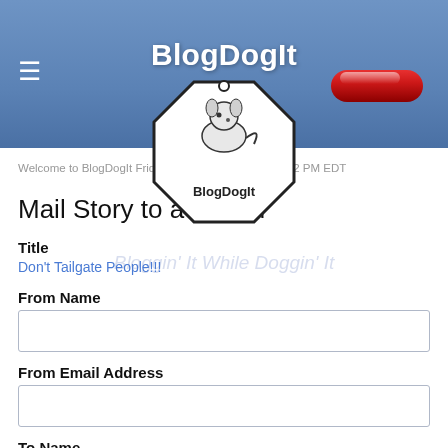BlogDogIt
Welcome to BlogDogIt Friday, August 19 2022 @ 03:52 PM EDT
[Figure (logo): BlogDogIt octagonal logo badge with dog illustration and text 'BlogDogIt']
Mail Story to a Friend
Bloggin' It While Doggin' It
Title
Don't Tailgate People!!!
From Name
From Email Address
To Name
To Email Address